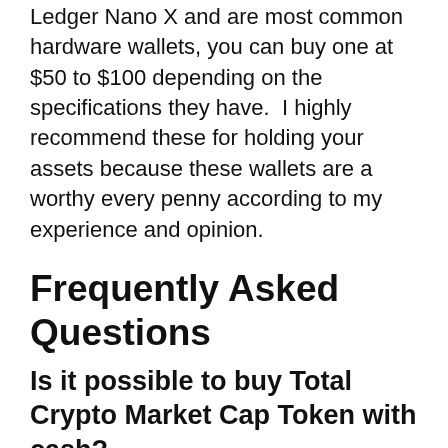Ledger Nano X and are most common hardware wallets, you can buy one at $50 to $100 depending on the specifications they have.  I highly recommend these for holding your assets because these wallets are a worthy every penny according to my experience and opinion.
Frequently Asked Questions
Is it possible to buy Total Crypto Market Cap Token with cash?
The answer is No. Because there is no way you can directly buy Total Crypto Market Cap Token with cash. But, using marketplaces such as LocalBitcoins to first buy Bitcoin, and completethe rest of the steps by transferring